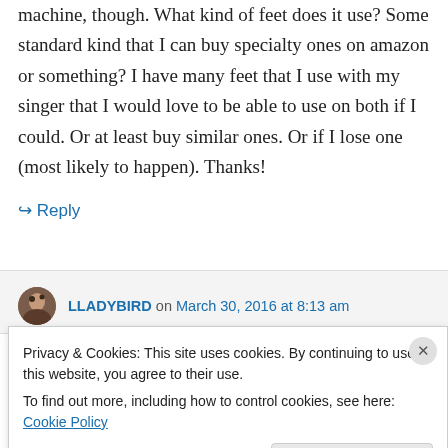machine, though. What kind of feet does it use? Some standard kind that I can buy specialty ones on amazon or something? I have many feet that I use with my singer that I would love to be able to use on both if I could. Or at least buy similar ones. Or if I lose one (most likely to happen). Thanks!
↳ Reply
LLADYBIRD on March 30, 2016 at 8:13 am
Privacy & Cookies: This site uses cookies. By continuing to use this website, you agree to their use.
To find out more, including how to control cookies, see here: Cookie Policy
Close and accept